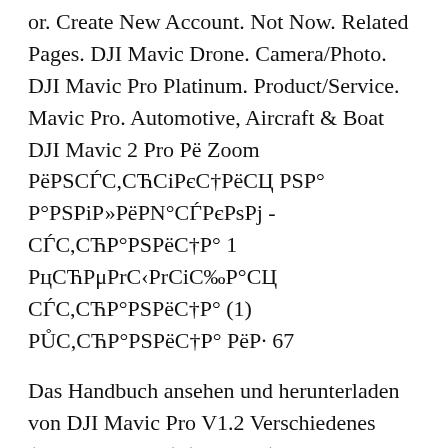or. Create New Account. Not Now. Related Pages. DJI Mavic Drone. Camera/Photo. DJI Mavic Pro Platinum. Product/Service. Mavic Pro. Automotive, Aircraft & Boat DJI Mavic 2 Pro Рё Zoom РёРSСЃС,СЋСіРєС†РёСЦ PSP° Р°РSРiР»РёРN°СЃРєРsPj - СЃС,СЋР°РSРёС†Р° 1 РцСЋРμРrС‹РrСіС‰Р°СЦ СЃС,СЋР°РSРёС†Р° (1) РŮС,СЋР°РSРёС†Р° РёР· 67
Das Handbuch ansehen und herunterladen von DJI Mavic Pro V1.2 Verschiedenes (Seite 11 von 12) (Englisch). Auch UnterstГjtzung und erhalten Sie das Handbuch per E-Mail. DJI's Mavic 2 is finally here! The new Mavic 2 comes in two editions This DJI GO 4 manual will cover the various settings and functions within the DJI GO 4 app for drone operation which can be used as a